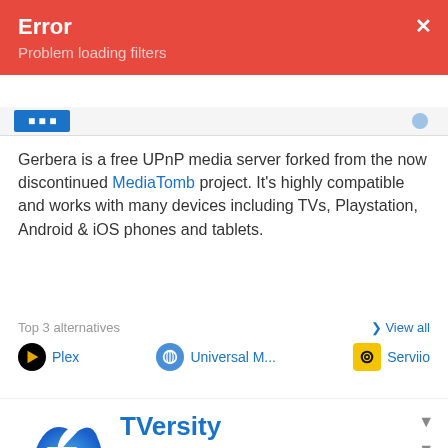Error
Problem loading filters
Gerbera is a free UPnP media server forked from the now discontinued MediaTomb project. It's highly compatible and works with many devices including TVs, Playstation, Android & iOS phones and tablets.
Top 3 alternatives
View all
Plex
Universal M...
Serviio
TVersity
Paid • Proprietary   Windows
Media Server   Media Center   Xbox
♥37
28 alternatives to TVersity
TVersity Media Server is a software package that allows a personal computer to stream content to UPnP devices, such as the Xbox 360, PS3, and Wii, regardless of the codec